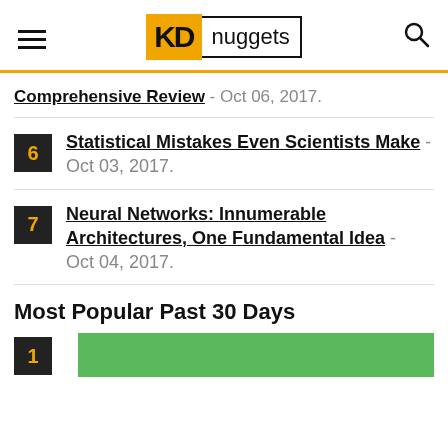KD nuggets
Comprehensive Review - Oct 06, 2017.
6 Statistical Mistakes Even Scientists Make - Oct 03, 2017.
7 Neural Networks: Innumerable Architectures, One Fundamental Idea - Oct 04, 2017.
Most Popular Past 30 Days
1 [image]